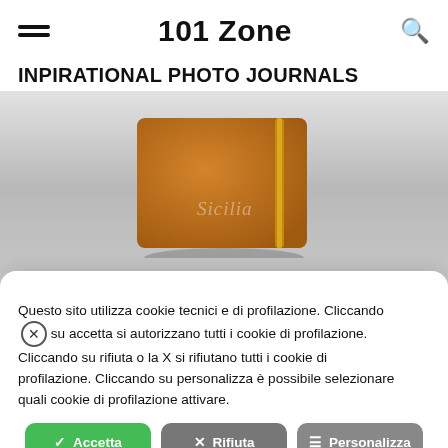101 Zone
INPIRATIONAL PHOTO JOURNALS
[Figure (photo): Orange leather notebook/journal with yellow elastic band closure and script text 'Sicilia' on cover, displayed against a grey gradient background]
Questo sito utilizza cookie tecnici e di profilazione. Cliccando su accetta si autorizzano tutti i cookie di profilazione. Cliccando su rifiuta o la X si rifiutano tutti i cookie di profilazione. Cliccando su personalizza è possibile selezionare quali cookie di profilazione attivare.
Accetta | Rifiuta | Personalizza